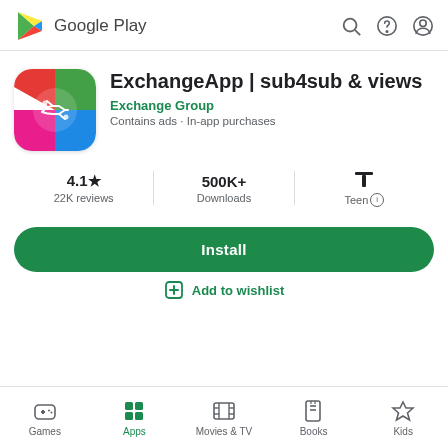[Figure (screenshot): Google Play Store header with logo and navigation icons (search, help, profile)]
[Figure (logo): ExchangeApp icon: colorful rounded square with handshake symbol on gradient background]
ExchangeApp | sub4sub & views
Exchange Group
Contains ads · In-app purchases
4.1★
22K reviews
500K+
Downloads
Teen ⓘ
Install
Add to wishlist
Games  Apps  Movies & TV  Books  Kids